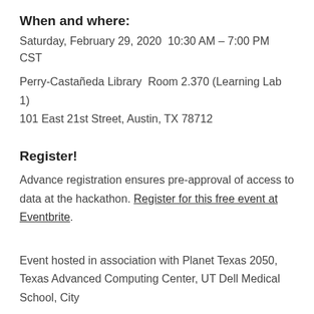When and where:
Saturday, February 29, 2020  10:30 AM – 7:00 PM CST
Perry-Castañeda Library  Room 2.370 (Learning Lab 1)
101 East 21st Street, Austin, TX 78712
Register!
Advance registration ensures pre-approval of access to data at the hackathon. Register for this free event at Eventbrite.
Event hosted in association with Planet Texas 2050, Texas Advanced Computing Center, UT Dell Medical School, City